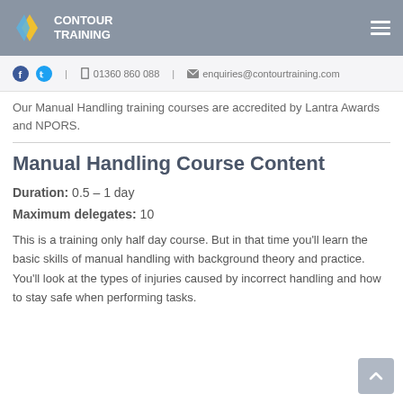Contour Training
01360 860 088   enquiries@contourtraining.com
Our Manual Handling training courses are accredited by Lantra Awards and NPORS.
Manual Handling Course Content
Duration: 0.5 – 1 day
Maximum delegates: 10
This is a training only half day course. But in that time you'll learn the basic skills of manual handling with background theory and practice. You'll look at the types of injuries caused by incorrect handling and how to stay safe when performing tasks.